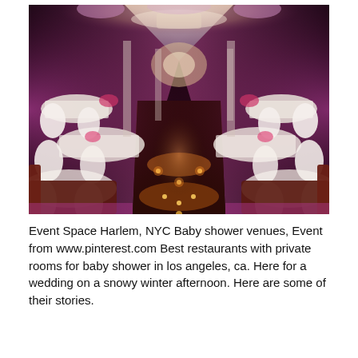[Figure (photo): Interior of an elegant event venue with purple/pink ambient lighting, white-draped chairs and tables along both sides, white ceiling draping, a polished dark wood dance floor with small candle lights embedded in it, and decorative floral arrangements. The perspective is from the entrance looking toward the far end of the room.]
Event Space Harlem, NYC Baby shower venues, Event from www.pinterest.com
Best restaurants with private rooms for baby shower in los angeles, ca. Here for a wedding on a snowy winter afternoon. Here are some of their stories.